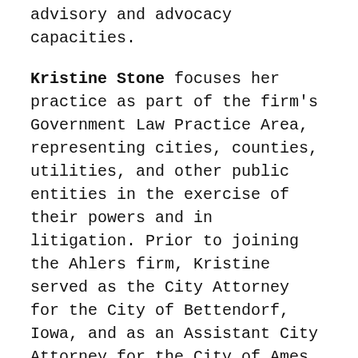advisory and advocacy capacities.
Kristine Stone focuses her practice as part of the firm's Government Law Practice Area, representing cities, counties, utilities, and other public entities in the exercise of their powers and in litigation. Prior to joining the Ahlers firm, Kristine served as the City Attorney for the City of Bettendorf, Iowa, and as an Assistant City Attorney for the City of Ames, Iowa.
Lindsay Vaught practices primarily in the areas of Employment Law and Litigation. She works closely with both public and private clients, including institutions of higher education. Lindsay counsels employers on various employment law matters, and in